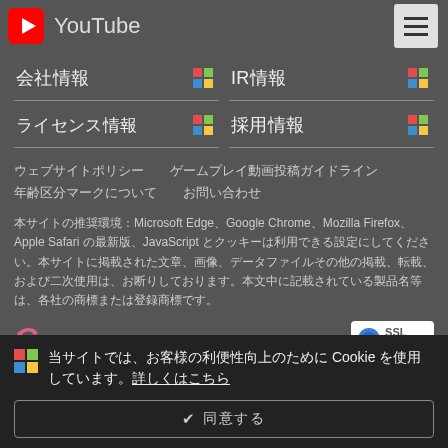YouTube
会社情報
IR情報
ライセンス情報
採用情報
ウェブサイトポリシー　ゲームプレイ動画投稿ガイドライン
年齢区分マークについて　お問い合わせ
本サイトの推奨環境：Microsoft Edge、Google Chrome、Mozilla Firefox、Apple Safari の最新版、JavaScript とクッキーは利用できる設定にしてください。本サイトに掲載された文章、画像、データファイルその他の掲載、転載、および二次使用は、お断りしております。本文中に記載されている製品名等は、各社の商標または登録商標です。
当サイトでは、お客様の利便性向上のために Cookie を使用しています。詳しくはこちら
同意する